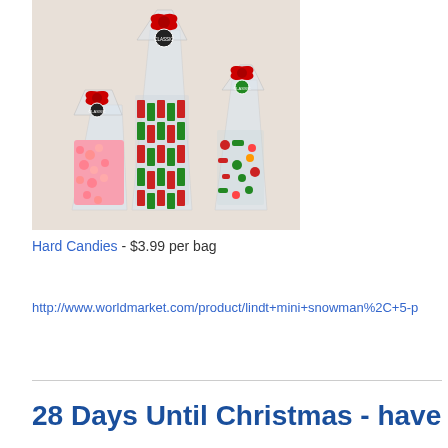[Figure (photo): Three clear cellophane bags of assorted Christmas hard candies tied with red satin bows and round classic candy labels, arranged on a light beige background. The left bag contains pink round candies, the center tall bag contains striped rectangular candies, and the right bag contains mixed holiday candies.]
Hard Candies - $3.99 per bag
http://www.worldmarket.com/product/lindt+mini+snowman%2C+5-p
28 Days Until Christmas - have so